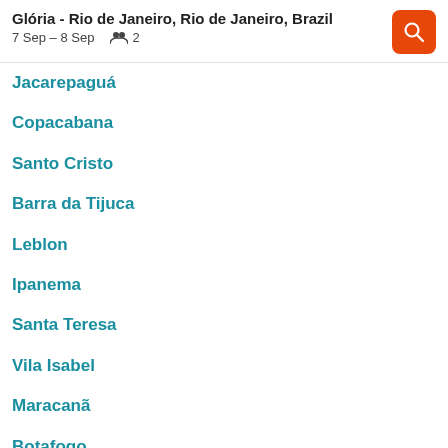Glória - Rio de Janeiro, Rio de Janeiro, Brazil
7 Sep – 8 Sep   2
Jacarepaguá
Copacabana
Santo Cristo
Barra da Tijuca
Leblon
Ipanema
Santa Teresa
Vila Isabel
Maracanã
Botafogo
Joá
Freguesia (Ilha)
Flamengo
São Conrado
Barra de Guaratiba
Del Castilho